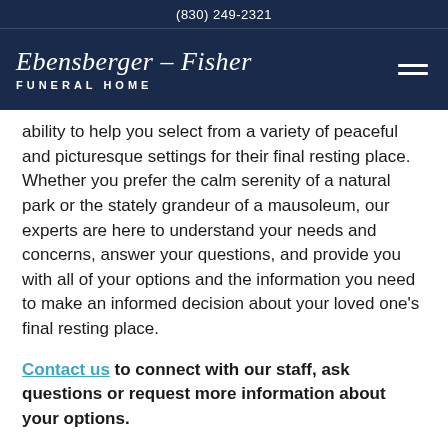(830) 249-2321
[Figure (logo): Ebensberger – Fisher Funeral Home logo in white script on dark navy background, with hamburger menu icon on the right]
ability to help you select from a variety of peaceful and picturesque settings for their final resting place. Whether you prefer the calm serenity of a natural park or the stately grandeur of a mausoleum, our experts are here to understand your needs and concerns, answer your questions, and provide you with all of your options and the information you need to make an informed decision about your loved one's final resting place.
Contact us to connect with our staff, ask questions or request more information about your options.